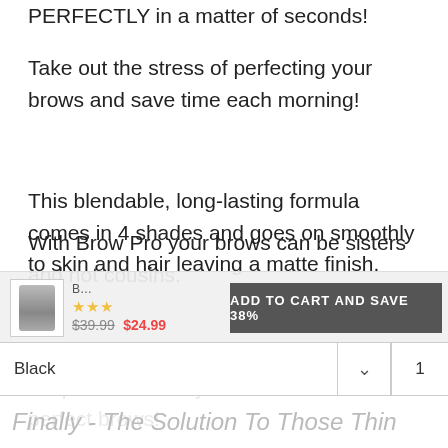PERFECTLY in a matter of seconds!
Take out the stress of perfecting your brows and save time each morning!
This blendable, long-lasting formula comes in 4 shades and goes on smoothly to skin and hair leaving a matte finish.
The brow stamp comes with 10 stencil shapes to ensure you can have the perfect brows!
With Brow Pro your brows can be sisters and not cousins.
$39.99 $24.99  ADD TO CART AND SAVE 38%
Black  1
Finally - The Solution To Those Thin